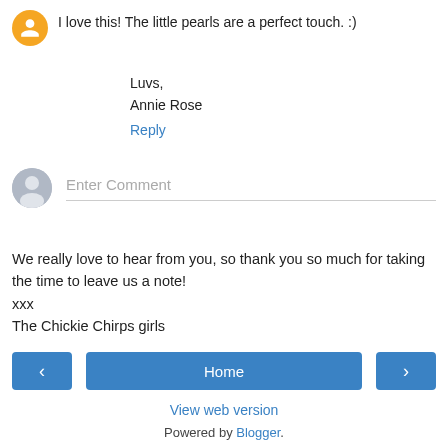I love this! The little pearls are a perfect touch. :)
Luvs,
Annie Rose
Reply
[Figure (other): Gray user avatar circle for comment input field with placeholder text 'Enter Comment']
We really love to hear from you, so thank you so much for taking the time to leave us a note!
xxx
The Chickie Chirps girls
< Home >
View web version
Powered by Blogger.